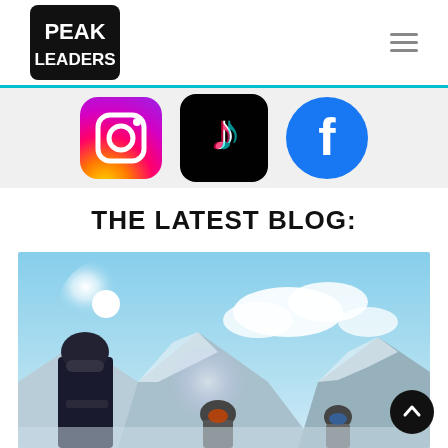[Figure (logo): Peak Leaders logo — black square with white bold text PEAK LEADERS]
[Figure (infographic): Social media icons: Instagram gradient icon, TikTok black icon, Facebook blue icon]
THE LATEST BLOG:
[Figure (photo): Outdoor winter ski scene: people wearing ski helmets and goggles against a bright blue sky with clouds and snowy mountains. One person wears a black Element jacket.]